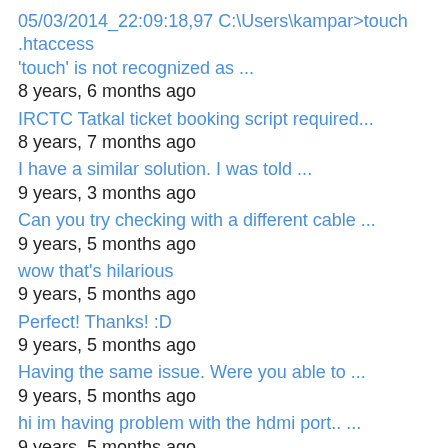05/03/2014_22:09:18,97 C:\Users\kampar>touch .htaccess
'touch' is not recognized as ...
8 years, 6 months ago
IRCTC Tatkal ticket booking script required...
8 years, 7 months ago
I have a similar solution. I was told ...
9 years, 3 months ago
Can you try checking with a different cable ...
9 years, 5 months ago
wow that's hilarious
9 years, 5 months ago
Perfect! Thanks! :D
9 years, 5 months ago
Having the same issue. Were you able to ...
9 years, 5 months ago
hi im having problem with the hdmi port.. ...
9 years, 5 months ago
Hi, As of today the way2sms website has ...
9 years, 7 months ago
HI! I have a problem with my lg ...
9 years, 10 months ago
You know what would be a GREAT idea ...
9 years, 10 months ago